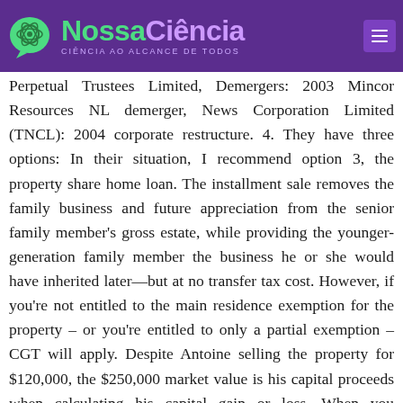NossaCiência — CIÊNCIA AO ALCANCE DE TODOS
Perpetual Trustees Limited, Demergers: 2003 Mincor Resources NL demerger, News Corporation Limited (TNCL): 2004 corporate restructure. 4. They have three options: In their situation, I recommend option 3, the property share home loan. The installment sale removes the family business and future appreciation from the senior family member's gross estate, while providing the younger-generation family member the business he or she would have inherited later—but at no transfer tax cost. However, if you're not entitled to the main residence exemption for the property – or you're entitled to only a partial exemption – CGT will apply. Despite Antoine selling the property for $120,000, the $250,000 market value is his capital proceeds when calculating his capital gain or loss. When you mortgage your home with a family member, in other words, you're giving a family